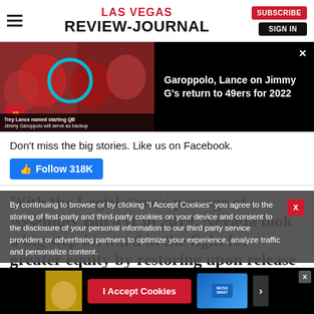LAS VEGAS REVIEW-JOURNAL
[Figure (screenshot): Video thumbnail showing 49ers players with teal circle highlight, and video title 'Garoppolo, Lance on Jimmy G's return to 49ers for 2022']
Don't miss the big stories. Like us on Facebook.
Follow 318K
With the Legislature's passage of Assembly Bill 431 in 2019, Nevada took a big step forward in the fight for greater equity by restoring upon release from incarceration
By continuing to browse or by clicking "I Accept Cookies" you agree to the storing of first-party and third-party cookies on your device and consent to the disclosure of your personal information to our third party service providers or advertising partners to optimize your experience, analyze traffic and personalize content.
I Accept Cookies